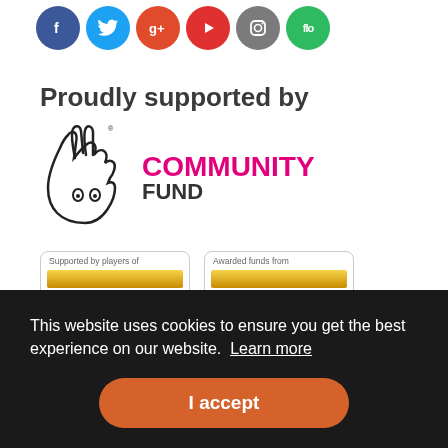[Figure (illustration): Row of social media icon circles: Facebook (blue), Twitter (light blue), Google+ (red), YouTube (red), Instagram (grey), Flo (green)]
Proudly supported by
[Figure (logo): National Lottery Community Fund logo with hand making peace sign and COMMUNITY FUND text in pink and black]
[Figure (logo): People's Postcode Lottery logo card - 'Supported by players of']
[Figure (logo): Postcode Community Trust logo card - 'Awarded funds from']
This website uses cookies to ensure you get the best experience on our website. Learn more
I accept